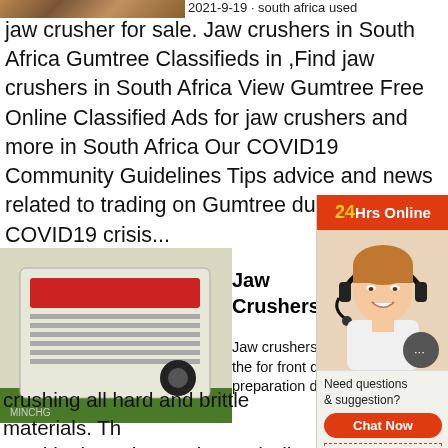[Figure (photo): Partial image of machinery/crusher at top left]
2021-9-19 · south africa used jaw crusher for sale. Jaw crushers in South Africa Gumtree Classifieds in ,Find jaw crushers in South Africa View Gumtree Free Online Classified Ads for jaw crushers and more in South Africa Our COVID19 Community Guidelines Tips advice and news related to trading on Gumtree during the COVID19 crisis...
[Figure (photo): Green/white industrial jaw crusher machine in a factory setting]
Jaw Crushers |
Jaw crushers the for front d preparation d crushing all hard and brittle materials. Th used in the Laboratories and Pilot Plants rough conditions for on-line quality contr...
[Figure (photo): 24Hrs Online customer service sidebar with woman wearing headset and chat/enquiry buttons]